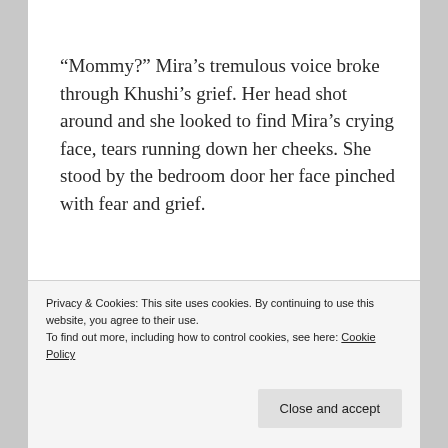“Mommy?” Mira’s tremulous voice broke through Khushi’s grief. Her head shot around and she looked to find Mira’s crying face, tears running down her cheeks. She stood by the bedroom door her face pinched with fear and grief.
Khushi stood and opened her arms and Mira flew into her mother’s embrace crying.
Privacy & Cookies: This site uses cookies. By continuing to use this website, you agree to their use.
To find out more, including how to control cookies, see here: Cookie Policy
Close and accept